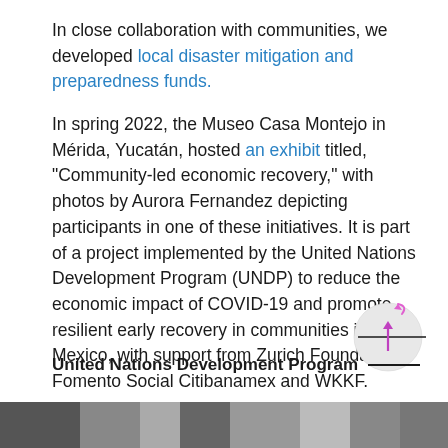In close collaboration with communities, we developed local disaster mitigation and preparedness funds.
In spring 2022, the Museo Casa Montejo in Mérida, Yucatán, hosted an exhibit titled, “Community-led economic recovery,” with photos by Aurora Fernandez depicting participants in one of these initiatives. It is part of a project implemented by the United Nations Development Program (UNDP) to reduce the economic impact of COVID-19 and promote resilient early recovery in communities in Mexico, with support from Zurich Foundation, Fomento Social Citibanamex and WKKF.
[Figure (other): Circular button/icon with a pink/magenta upward arrow and a pink curved arrow above it, on a light gray circle background, positioned near a horizontal line next to the United Nations Development Program footer text.]
United Nations Development Program
[Figure (photo): A partial black and white photograph strip visible at the bottom of the page.]